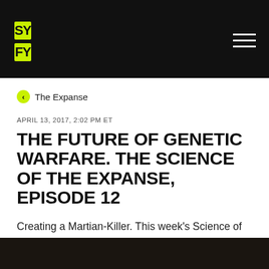[Figure (logo): SYFY channel logo in yellow/green on black header bar with hamburger menu icon]
< The Expanse
APRIL 13, 2017, 2:02 PM ET
THE FUTURE OF GENETIC WARFARE. THE SCIENCE OF THE EXPANSE, EPISODE 12
Creating a Martian-Killer.  This week's Science of The Expanse delves into the chemical warfare of the future.
[Figure (photo): Dark photo strip at the bottom of the page showing a dimly lit scene]